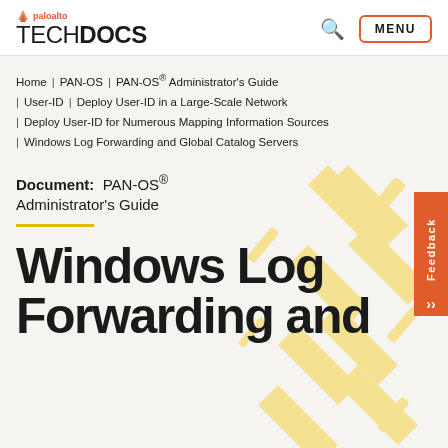paloalto TECHDOCS
Home | PAN-OS | PAN-OS® Administrator's Guide | User-ID | Deploy User-ID in a Large-Scale Network | Deploy User-ID for Numerous Mapping Information Sources | Windows Log Forwarding and Global Catalog Servers
Document: PAN-OS® Administrator's Guide
Windows Log Forwarding and